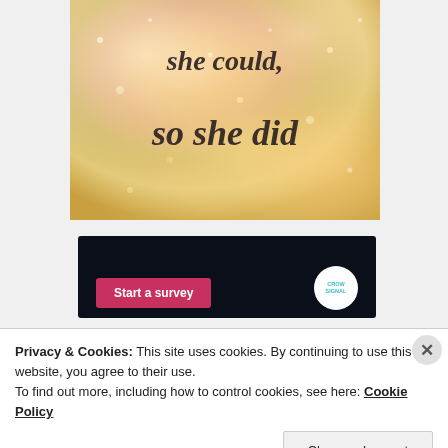[Figure (illustration): Glittery bokeh background in gold and rose tones with cursive italic text reading 'she could, so she did']
[Figure (screenshot): Dark navy survey widget card with a pink 'Start a survey' button on the left and a circular Crowdsignal logo on the right]
Privacy & Cookies: This site uses cookies. By continuing to use this website, you agree to their use. To find out more, including how to control cookies, see here: Cookie Policy
Close and accept